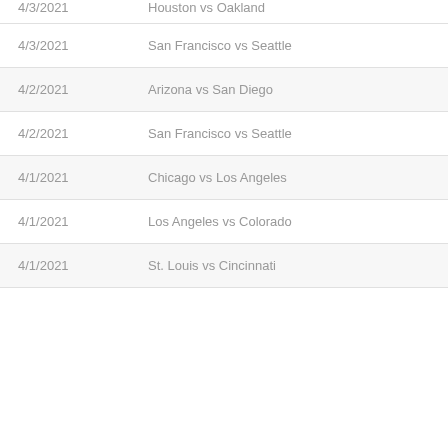| Date | Game |
| --- | --- |
| 4/3/2021 | Houston vs Oakland |
| 4/3/2021 | San Francisco vs Seattle |
| 4/2/2021 | Arizona vs San Diego |
| 4/2/2021 | San Francisco vs Seattle |
| 4/1/2021 | Chicago vs Los Angeles |
| 4/1/2021 | Los Angeles vs Colorado |
| 4/1/2021 | St. Louis vs Cincinnati |